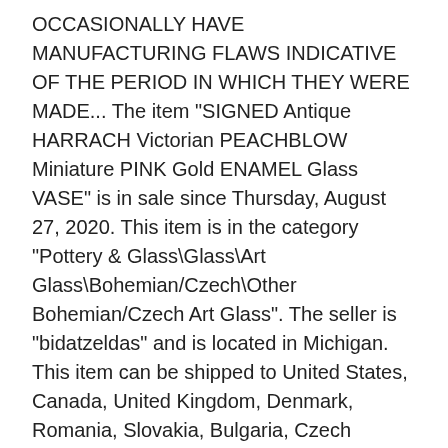OCCASIONALLY HAVE MANUFACTURING FLAWS INDICATIVE OF THE PERIOD IN WHICH THEY WERE MADE... The item "SIGNED Antique HARRACH Victorian PEACHBLOW Miniature PINK Gold ENAMEL Glass VASE" is in sale since Thursday, August 27, 2020. This item is in the category "Pottery & Glass\Glass\Art Glass\Bohemian/Czech\Other Bohemian/Czech Art Glass". The seller is "bidatzeldas" and is located in Michigan. This item can be shipped to United States, Canada, United Kingdom, Denmark, Romania, Slovakia, Bulgaria, Czech republic, Finland, Hungary, Latvia, Lithuania, Malta, Estonia, Australia, Greece, Portugal, Cyprus, Slovenia, Japan, China, Sweden, South Korea, Indonesia, Taiwan, South africa, Thailand, Belgium, France, Hong Kong, Ireland, Netherlands, Poland, Spain, Germany, Austria, Bahamas, Israel, Mexico, New Zealand, Philippines, Singapore, Switzerland, Norway, Saudi arabia, Ukraine, United arab emirates, Qatar